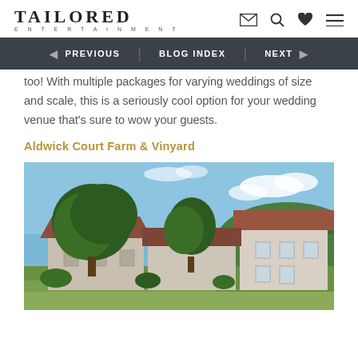TAILORED ENTERTAINMENT
too! With multiple packages for varying weddings of size and scale, this is a seriously cool option for your wedding venue that's sure to wow your guests.
Aldwick Court Farm & Vinyard
[Figure (photo): Exterior view of Aldwick Court Farm & Vinyard showing stone farm buildings with terracotta roofs, large green trees, and a blue sky with light clouds]